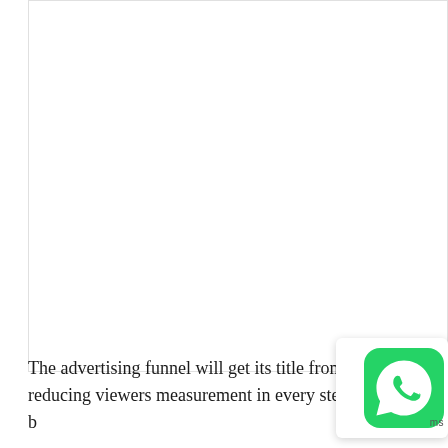[Figure (other): Large white blank rectangular area occupying most of the upper portion of the page, with a light border on the left side.]
The advertising funnel will get its title from the reducing viewers measurement in every step by ke... [of Build bl...